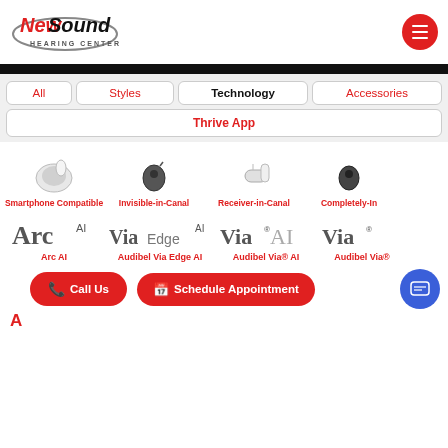[Figure (logo): NewSound Hearing Centers logo with stylized text and oval shape]
All
Styles
Technology
Accessories
Thrive App
[Figure (photo): Smartphone Compatible hearing aid device image]
Smartphone Compatible
[Figure (photo): Invisible-in-Canal hearing aid device image]
Invisible-in-Canal
[Figure (photo): Receiver-in-Canal hearing aid device image]
Receiver-in-Canal
[Figure (photo): Completely-In hearing aid device image]
Completely-In
[Figure (logo): Arc AI logo]
Arc AI
[Figure (logo): ViaEdge AI logo]
Audibel Via Edge AI
[Figure (logo): Via AI logo]
Audibel Via® AI
[Figure (logo): Via logo]
Audibel Via®
Call Us
Schedule Appointment